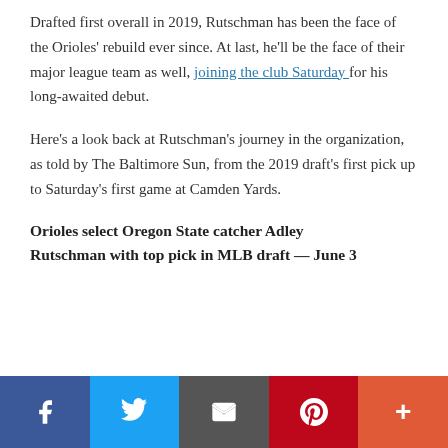Drafted first overall in 2019, Rutschman has been the face of the Orioles' rebuild ever since. At last, he'll be the face of their major league team as well, joining the club Saturday for his long-awaited debut.
Here's a look back at Rutschman's journey in the organization, as told by The Baltimore Sun, from the 2019 draft's first pick up to Saturday's first game at Camden Yards.
Orioles select Oregon State catcher Adley Rutschman with top pick in MLB draft — June 3